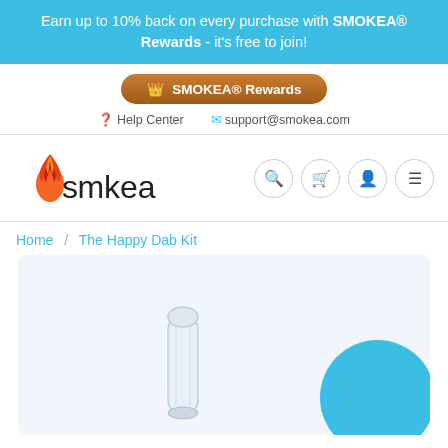Earn up to 10% back on every purchase with SMOKEA® Rewards - it's free to join!
SMOKEA® Rewards
Help Center   support@smokea.com
[Figure (logo): Smokea logo with flame icon and nav icons (search, cart, account, menu)]
Home / The Happy Dab Kit
[Figure (photo): Product photo area showing a glass dab tool and a blue circular badge/sticker on a light blue background]